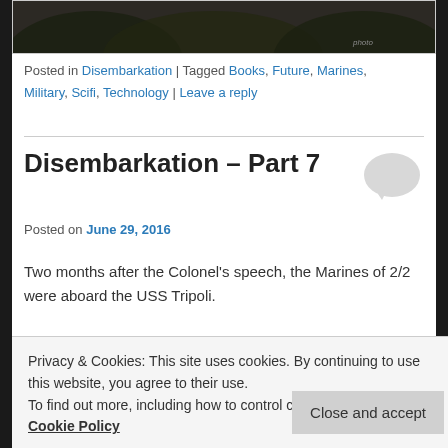[Figure (photo): Dark nature/forest photo partially visible at top of page]
Posted in Disembarkation | Tagged Books, Future, Marines, Military, Scifi, Technology | Leave a reply
Disembarkation – Part 7
Posted on June 29, 2016
Two months after the Colonel's speech, the Marines of 2/2 were aboard the USS Tripoli.
Privacy & Cookies: This site uses cookies. By continuing to use this website, you agree to their use.
To find out more, including how to control cookies, see here: Cookie Policy
Advertisements